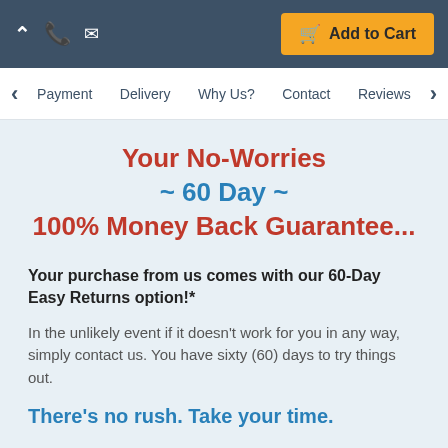Add to Cart
Payment | Delivery | Why Us? | Contact | Reviews
Your No-Worries ~ 60 Day ~ 100% Money Back Guarantee...
Your purchase from us comes with our 60-Day Easy Returns option!*
In the unlikely event if it doesn't work for you in any way, simply contact us. You have sixty (60) days to try things out.
There's no rush. Take your time.